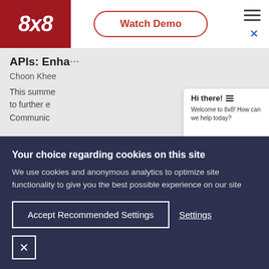[Figure (screenshot): 8x8 website navigation bar with logo, Watch Demo button, hamburger menu, and close X icon]
APIs: Enhanced User Experience and
Choon Khee
This summer to further e Communic
[Figure (screenshot): Chat popup with 'Hi there!' heading and list icon, and text 'Welcome to 8x8! How can we help today?']
Your choice regarding cookies on this site
We use cookies and anonymous analytics to optimize site functionality to give you the best possible experience on our site
Accept Recommended Settings
Settings